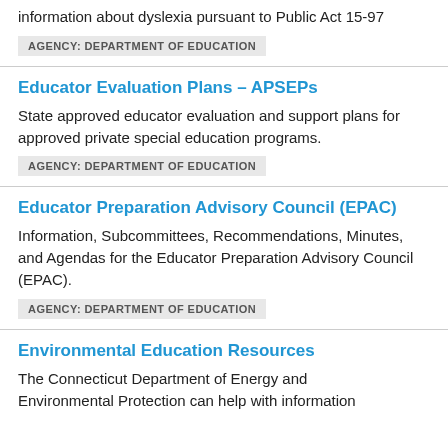information about dyslexia pursuant to Public Act 15-97
AGENCY: DEPARTMENT OF EDUCATION
Educator Evaluation Plans - APSEPs
State approved educator evaluation and support plans for approved private special education programs.
AGENCY: DEPARTMENT OF EDUCATION
Educator Preparation Advisory Council (EPAC)
Information, Subcommittees, Recommendations, Minutes, and Agendas for the Educator Preparation Advisory Council (EPAC).
AGENCY: DEPARTMENT OF EDUCATION
Environmental Education Resources
The Connecticut Department of Energy and Environmental Protection can help with information